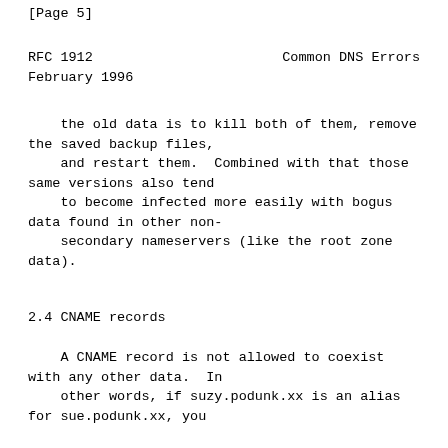[Page 5]
RFC 1912                          Common DNS Errors
February 1996
the old data is to kill both of them, remove the saved backup files,
   and restart them.  Combined with that those same versions also tend
   to become infected more easily with bogus data found in other non-
   secondary nameservers (like the root zone data).
2.4 CNAME records
A CNAME record is not allowed to coexist with any other data.  In
   other words, if suzy.podunk.xx is an alias
for sue.podunk.xx, you